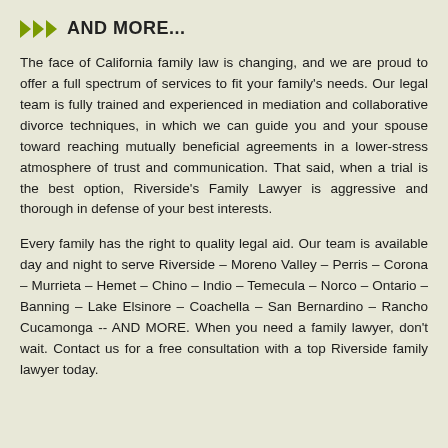AND MORE...
The face of California family law is changing, and we are proud to offer a full spectrum of services to fit your family's needs. Our legal team is fully trained and experienced in mediation and collaborative divorce techniques, in which we can guide you and your spouse toward reaching mutually beneficial agreements in a lower-stress atmosphere of trust and communication. That said, when a trial is the best option, Riverside's Family Lawyer is aggressive and thorough in defense of your best interests.
Every family has the right to quality legal aid. Our team is available day and night to serve Riverside – Moreno Valley – Perris – Corona – Murrieta – Hemet – Chino – Indio – Temecula – Norco – Ontario – Banning – Lake Elsinore – Coachella – San Bernardino – Rancho Cucamonga -- AND MORE. When you need a family lawyer, don't wait. Contact us for a free consultation with a top Riverside family lawyer today.